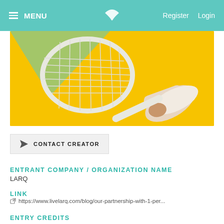MENU | [logo] | Register | Login
[Figure (photo): Hand holding a white tennis racket against a yellow background]
CONTACT CREATOR
ENTRANT COMPANY / ORGANIZATION NAME
LARQ
LINK
https://www.livelarq.com/blog/our-partnership-with-1-per...
ENTRY CREDITS